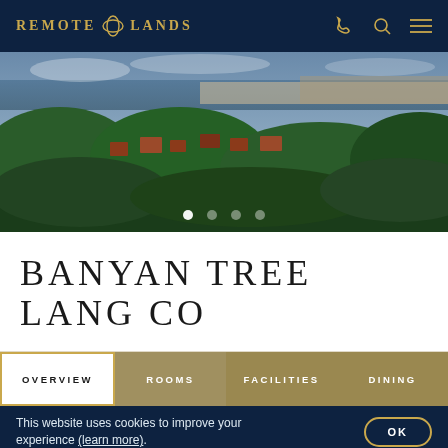REMOTE LANDS
[Figure (photo): Aerial panoramic view of a coastal resort area with lush tropical greenery, red-roofed buildings nestled among trees, and the ocean visible in the background under a cloudy sky.]
BANYAN TREE LANG CO
OVERVIEW | ROOMS | FACILITIES | DINING
This website uses cookies to improve your experience (learn more).